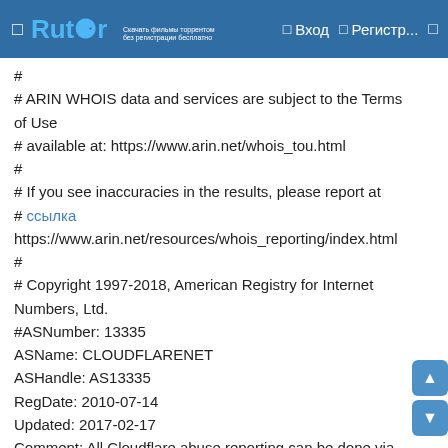Rutor | Вход | Регистр...
#
# ARIN WHOIS data and services are subject to the Terms of Use
# available at: https://www.arin.net/whois_tou.html
#
# If you see inaccuracies in the results, please report at
# ссылка https://www.arin.net/resources/whois_reporting/index.html
#
# Copyright 1997-2018, American Registry for Internet Numbers, Ltd.
#ASNumber: 13335
ASName: CLOUDFLARENET
ASHandle: AS13335
RegDate: 2010-07-14
Updated: 2017-02-17
Comment: All Cloudflare abuse reporting can be done via https://www.cloudflare.com/abuse
Ref: https://rdap.arin.net/registry/autnum/13335OrgName: